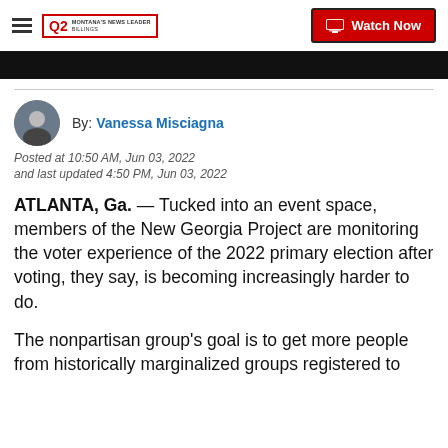Q2 MONTANA'S NEWS LEADER — Watch Now
[Figure (screenshot): Black video thumbnail bar]
By: Vanessa Misciagna
Posted at 10:50 AM, Jun 03, 2022
and last updated 4:50 PM, Jun 03, 2022
ATLANTA, Ga.  — Tucked into an event space, members of the New Georgia Project are monitoring the voter experience of the 2022 primary election after voting, they say, is becoming increasingly harder to do.
The nonpartisan group's goal is to get more people from historically marginalized groups registered to